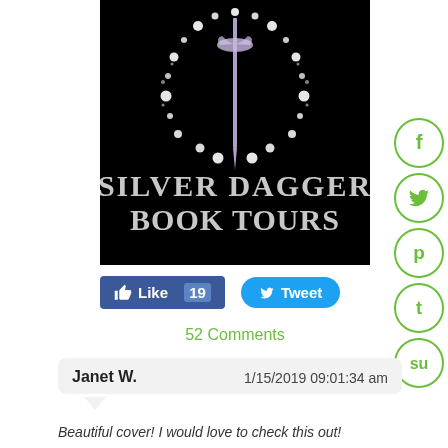[Figure (logo): Silver Dagger Book Tours logo: black background with a silver dagger and circle of sparkle/diamond dots, text reads SILVER DAGGER BOOK TOURS in silver serif font]
[Figure (infographic): Social media sidebar icons (Facebook, Twitter, Pinterest, Tumblr, StumbleUpon) as green circle outlines with green icons]
[Figure (infographic): Facebook Like button showing count 19 and Twitter Tweet button]
52 Comments
Janet W.   1/15/2019 09:01:34 am
Beautiful cover! I would love to check this out!